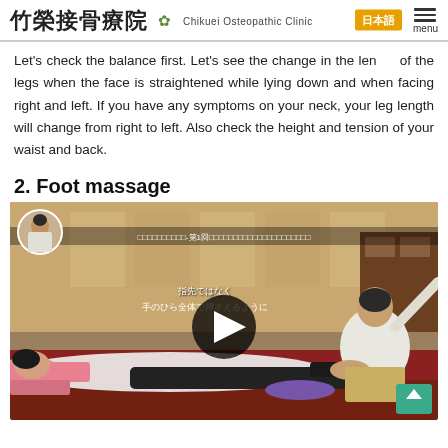竹榮接骨療院 Chikuei Osteopathic Clinic
Let's check the balance first. Let's see the change in the length of the legs when the face is straightened while lying down and when facing right and left. If you have any symptoms on your neck, your leg length will change from right to left. Also check the height and tension of your waist and back.
2. Foot massage
[Figure (screenshot): Video thumbnail showing a medical practitioner performing a foot massage on a patient lying on a treatment table. The video has Japanese text overlay and a play button in the center.]